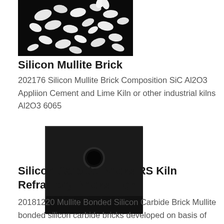[Figure (photo): White granular silicon mullite refractory material scattered on a dark black background, showing irregular grain shapes.]
Silicon Mullite Brick
202176 Silicon Mullite Brick Composition SiC Al2O3 Appliion Cement and Lime Kiln or other industrial kilns Al2O3 6065
[Figure (photo): Dark black square silicon carbide refractory brick with a circular hole/indentation in the center, photographed against a white background.]
Silicon Carbide Bricks RS Kiln Refractory Bricks High
20181220 Mullite Bonded Silicon Carbide Brick Mullite bonded silicon carbide bricks developed on basis of clay bonded SiC refractory The bonding raw material are high purity Al2O3 and SiO2 micro